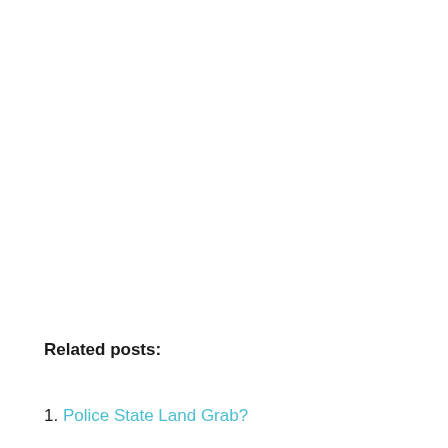Related posts:
1. Police State Land Grab?